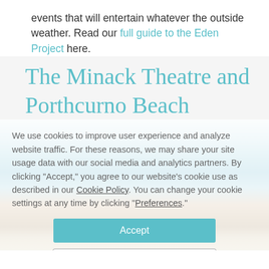events that will entertain whatever the outside weather. Read our full guide to the Eden Project here.
The Minack Theatre and Porthcurno Beach
[Figure (photo): Coastal beach scene with turquoise water, rocky cliffs, and sandy beach at Porthcurno, with a cookie consent overlay]
We use cookies to improve user experience and analyze website traffic. For these reasons, we may share your site usage data with our social media and analytics partners. By clicking “Accept,” you agree to our website’s cookie use as described in our Cookie Policy. You can change your cookie settings at any time by clicking “Preferences.”
Accept
Preferences